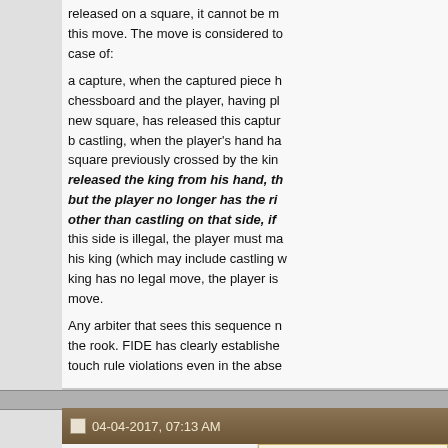released on a square, it cannot be moved again during this move. The move is considered to be complete in the case of: a capture, when the captured piece has been removed from the chessboard and the player, having placed his piece on its new square, has released this captured piece. b castling, when the player's hand has released the rook on the square previously crossed by the king. However, if the player released the king from his hand, the castling is not yet complete, but the player no longer has the right to make any move other than castling on that side, if castling on this side is illegal, the player must make another move with his king (which may include castling with the other rook). If the king has no legal move, the player is free to make any other move. Any arbiter that sees this sequence must intervene and move the rook. FIDE has clearly established that arbiters must enforce touch rule violations even in the absence of...
04-04-2017, 07:13 AM
Jesper Norgaard
CC International Master
Originally Posted by Pierre — Actually, this one is a touch ru... arbiter witness it or if it ha...